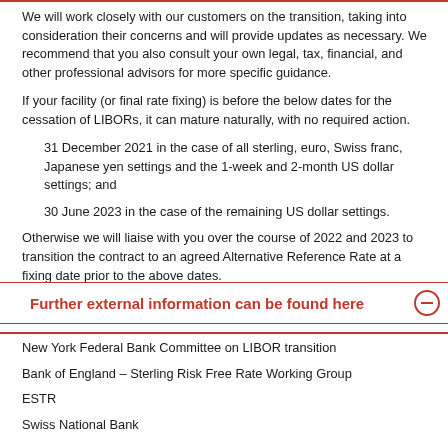We will work closely with our customers on the transition, taking into consideration their concerns and will provide updates as necessary. We recommend that you also consult your own legal, tax, financial, and other professional advisors for more specific guidance.
If your facility (or final rate fixing) is before the below dates for the cessation of LIBORs, it can mature naturally, with no required action.
31 December 2021 in the case of all sterling, euro, Swiss franc, Japanese yen settings and the 1-week and 2-month US dollar settings; and
30 June 2023 in the case of the remaining US dollar settings.
Otherwise we will liaise with you over the course of 2022 and 2023 to transition the contract to an agreed Alternative Reference Rate at a fixing date prior to the above dates.
Further external information can be found here
New York Federal Bank Committee on LIBOR transition
Bank of England – Sterling Risk Free Rate Working Group
ESTR
Swiss National Bank